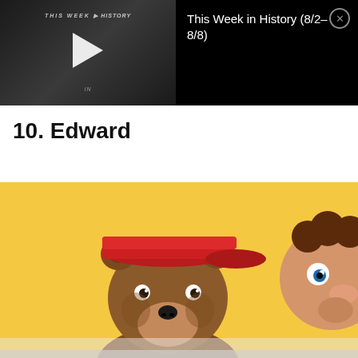[Figure (screenshot): Video thumbnail showing 'THIS WEEK IN HISTORY' text with a play button on dark background, and video title 'This Week in History (8/2-8/8)' with close button on black background]
10. Edward
[Figure (illustration): Cartoon illustration showing a brown bear wearing a red cap on yellow background (left), and a partial view of another cartoon character with brown curly hair (right)]